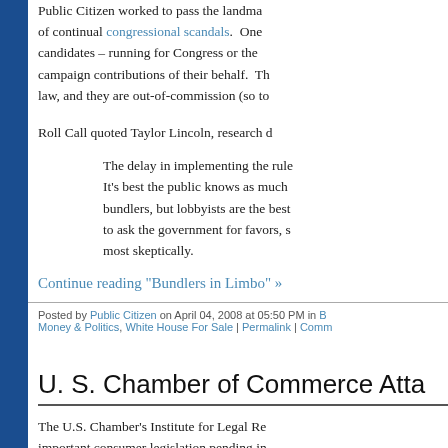Public Citizen worked to pass the landmark... of continual congressional scandals. One candidates – running for Congress or the campaign contributions of their behalf. Th law, and they are out-of-commission (so t
Roll Call quoted Taylor Lincoln, research d
The delay in implementing the rule... It's best the public knows as much bundlers, but lobbyists are the best to ask the government for favors, s most skeptically.
Continue reading "Bundlers in Limbo" »
Posted by Public Citizen on April 04, 2008 at 05:50 PM in B... Money & Politics, White House For Sale | Permalink | Comm...
U. S. Chamber of Commerce Atta
The U.S. Chamber's Institute for Legal Re... important consumer legislation pending in... Fairness Act (S. 1782/H.R. 3010) which is... from having binding arbitration imposed as...